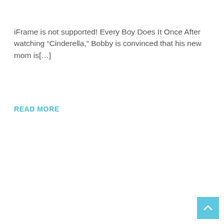iFrame is not supported! Every Boy Does It Once After watching “Cinderella,” Bobby is convinced that his new mom is[…]
READ MORE
[Figure (other): Back to top button: a light blue square with a white upward-pointing chevron/arrow icon in the bottom-right corner of the page.]